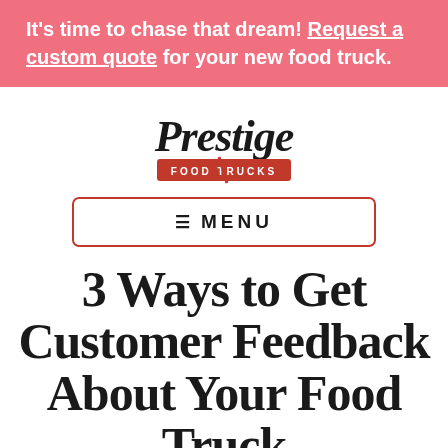It's time to chase that dream! Request a custom quote for your new food truck.
[Figure (logo): Prestige Food Trucks logo with cursive 'Prestige' text and red rectangular badge reading 'FOOD TRUCKS']
MENU
3 Ways to Get Customer Feedback About Your Food Truck